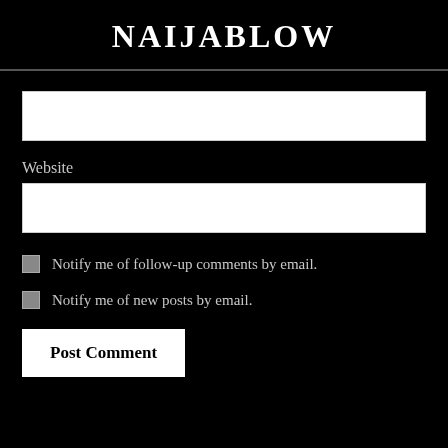NAIJABLOW
[Figure (other): White input text field (first, unlabeled — likely for name or email)]
Website
[Figure (other): White input text field for website URL]
Notify me of follow-up comments by email.
Notify me of new posts by email.
Post Comment